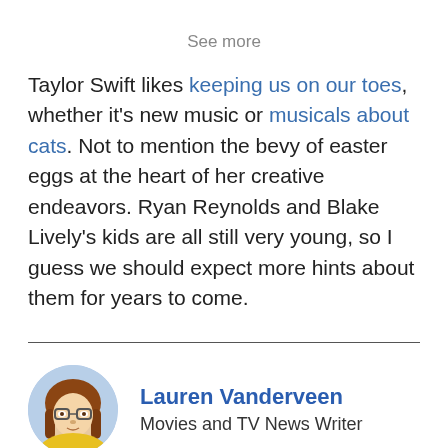See more
Taylor Swift likes keeping us on our toes, whether it's new music or musicals about cats. Not to mention the bevy of easter eggs at the heart of her creative endeavors. Ryan Reynolds and Blake Lively's kids are all still very young, so I guess we should expect more hints about them for years to come.
[Figure (photo): Circular portrait photo of Lauren Vanderveen, a woman with glasses and long brown hair wearing a yellow top]
Lauren Vanderveen
Movies and TV News Writer